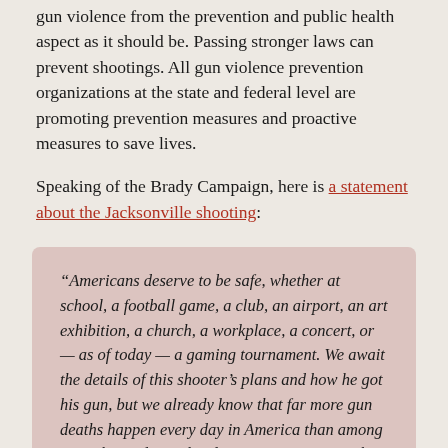gun violence from the prevention and public health aspect as it should be. Passing stronger laws can prevent shootings. All gun violence prevention organizations at the state and federal level are promoting prevention measures and proactive measures to save lives.
Speaking of the Brady Campaign, here is a statement about the Jacksonville shooting:
“Americans deserve to be safe, whether at school, a football game, a club, an airport, an art exhibition, a church, a workplace, a concert, or — as of today — a gaming tournament. We await the details of this shooter’s plans and how he got his gun, but we already know that far more gun deaths happen every day in America than among any other industrialized nation. We can stop the shootings if we enforce our existing gun laws, including the Brady background check system, and eliminate the gaps in our our nation’s laws that make it far too easy for dangerous people to get firearms to use as killing machines.”